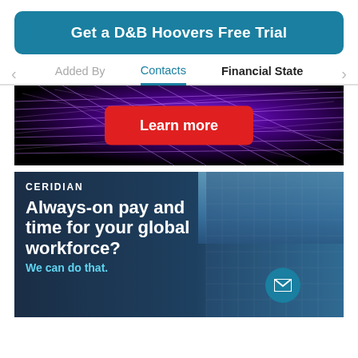Get a D&B Hoovers Free Trial
Added By   Contacts   Financial States
[Figure (screenshot): Dark advertisement banner with purple light streaks and a red 'Learn more' button in the center.]
[Figure (screenshot): Ceridian advertisement showing a glass building background with text 'Always-on pay and time for your global workforce? We can do that.' with a teal email icon.]